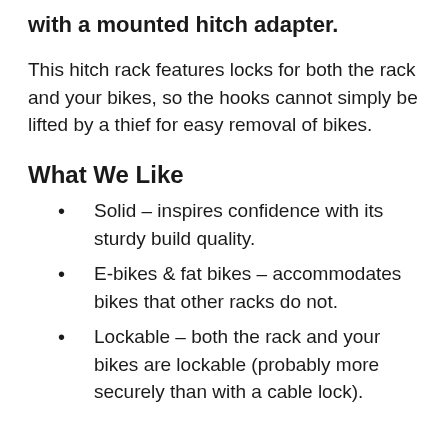with a mounted hitch adapter.
This hitch rack features locks for both the rack and your bikes, so the hooks cannot simply be lifted by a thief for easy removal of bikes.
What We Like
Solid – inspires confidence with its sturdy build quality.
E-bikes & fat bikes – accommodates bikes that other racks do not.
Lockable – both the rack and your bikes are lockable (probably more securely than with a cable lock).